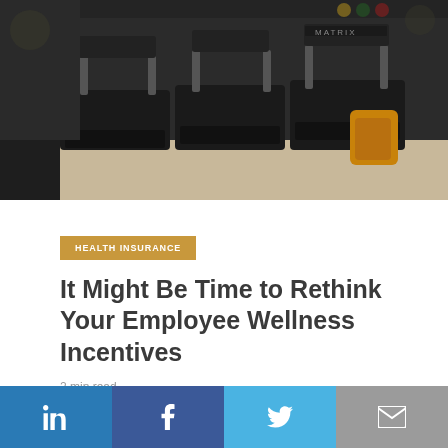[Figure (photo): A row of treadmills in a gym, with a Matrix-branded treadmill console visible in the foreground on the right side]
HEALTH INSURANCE
It Might Be Time to Rethink Your Employee Wellness Incentives
2 min read
[Figure (infographic): Social sharing bar with LinkedIn, Facebook, Twitter, and email icons]